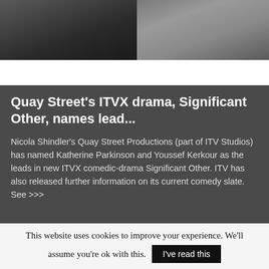[Figure (photo): Two grayscale portrait photos side by side at top of page]
TV & FILM   22.08.22
Quay Street's ITVX drama, Significant Other, names lead...
Nicola Shindler's Quay Street Productions (part of ITV Studios) has named Katherine Parkinson and Youssef Kerkour as the leads in new ITVX comedic-drama Significant Other. ITV has also released further information on its current comedy slate. See >>>
This website uses cookies to improve your experience. We'll assume you're ok with this. I've read this